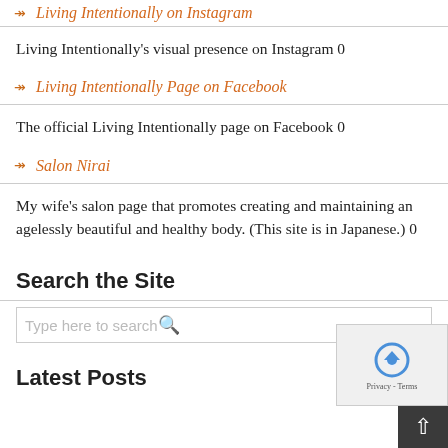→ Living Intentionally on Instagram
Living Intentionally's visual presence on Instagram 0
→ Living Intentionally Page on Facebook
The official Living Intentionally page on Facebook 0
→ Salon Nirai
My wife's salon page that promotes creating and maintaining an agelessly beautiful and healthy body. (This site is in Japanese.) 0
Search the Site
Type here to search
Latest Posts